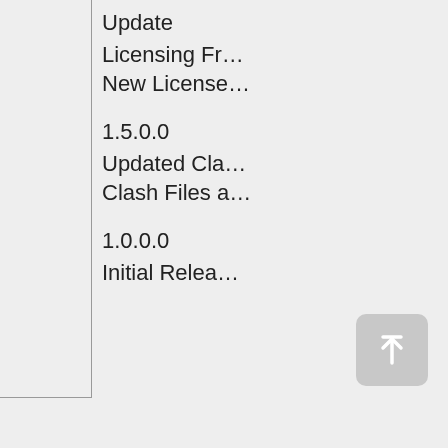|  | Update Licensing Framework
New License... |
|  | 1.5.0.0
Updated Cl...
Clash Files a... |
|  | 1.0.0.0
Initial Relea... |
[Figure (other): Scroll-to-top button: gray rounded square with upward arrow icon]